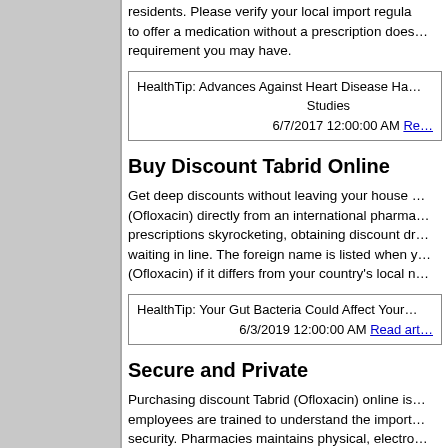residents. Please verify your local import regulations. Our ability to offer a medication without a prescription does not supersede any requirement you may have.
HealthTip: Advances Against Heart Disease Have Come From Studies
6/7/2017 12:00:00 AM Read article
Buy Discount Tabrid Online
Get deep discounts without leaving your house with Tabrid (Ofloxacin) directly from an international pharmacy. With the cost of prescriptions skyrocketing, obtaining discount drugs without waiting in line. The foreign name is listed when you order Tabrid (Ofloxacin) if it differs from your country's local name.
HealthTip: Your Gut Bacteria Could Affect Your ...
6/3/2019 12:00:00 AM Read article
Secure and Private
Purchasing discount Tabrid (Ofloxacin) online is safe because employees are trained to understand the importance of your security. Pharmacies maintains physical, electronic safeguards to protect your personal information.
Click Buy Tabrid Online to order.